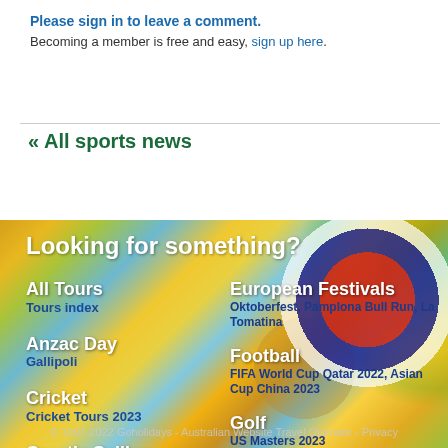Please sign in to leave a comment. Becoming a member is free and easy, sign up here.
« All sports news
Looking for something?
All Tours / Tours index
Anzac Day / Gallipoli
Cricket / Cricket Tours 2023
Croatia Sailing / Croatia Sailing
European Festivals / Oktoberfest, Pamplona Bull Run, La Tomatina
Football / FIFA World Cup Qatar 2022, Asian Cup China 2023
Golf / US Masters 2023
Snow / Skifest Xmas in the French Alps
© 1997-2022 Goholidays - Australian Website Travel Operator - Privacy